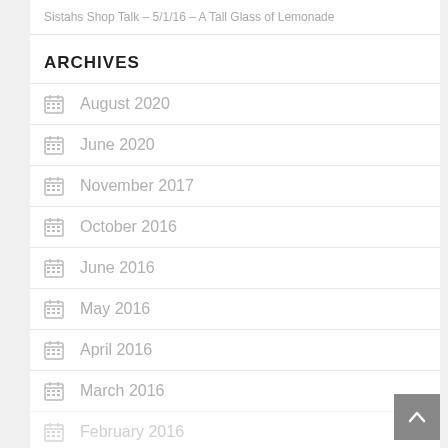Sistahs Shop Talk – 5/1/16 – A Tall Glass of Lemonade
ARCHIVES
August 2020
June 2020
November 2017
October 2016
June 2016
May 2016
April 2016
March 2016
February 2016